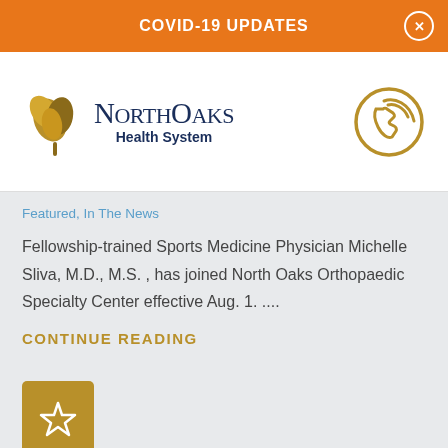COVID-19 UPDATES
[Figure (logo): North Oaks Health System logo with oak leaf icon]
[Figure (illustration): Gold telephone/call icon circle]
Featured, In The News
Fellowship-trained Sports Medicine Physician Michelle Sliva, M.D., M.S. , has joined North Oaks Orthopaedic Specialty Center effective Aug. 1. ....
CONTINUE READING
[Figure (illustration): Gold bookmark button with star icon]